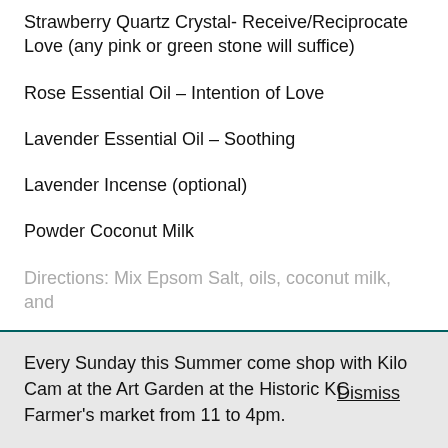Strawberry Quartz Crystal- Receive/Reciprocate Love (any pink or green stone will suffice)
Rose Essential Oil – Intention of Love
Lavender Essential Oil – Soothing
Lavender Incense (optional)
Powder Coconut Milk
Directions: Mix Epsom Salt, oils, coconut milk, and
Every Sunday this Summer come shop with Kilo Cam at the Art Garden at the Historic KC Farmer's market from 11 to 4pm.
Dismiss